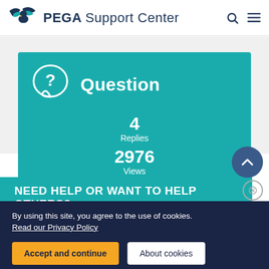PEGA Support Center
[Figure (infographic): Teal question card showing Question label with speech bubble icon, 4 Replies, 2976 Views, and member info row with PADMASRI, Member since 2013, 15 posts]
NEED HELP OR WANT TO HELP OTHERS?
By using this site, you agree to the use of cookies. Read our Privacy Policy
Accept and continue
About cookies